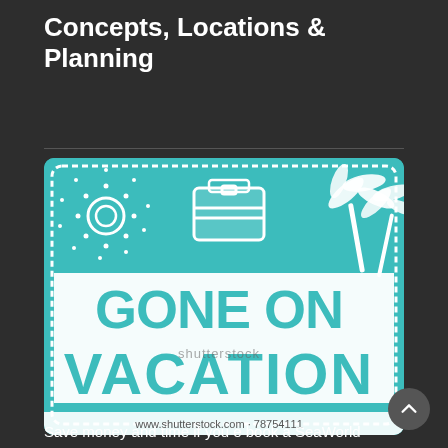Concepts, Locations & Planning
[Figure (illustration): A teal/turquoise illustrated stamp-style graphic with text 'GONE ON VACATION' in large distressed lettering, with palm trees, a suitcase, and a sun design. Watermark reads 'shutterstock' and URL 'www.shutterstock.com - 78754111' shown at bottom.]
Save money and time if you e book a SeaWorld